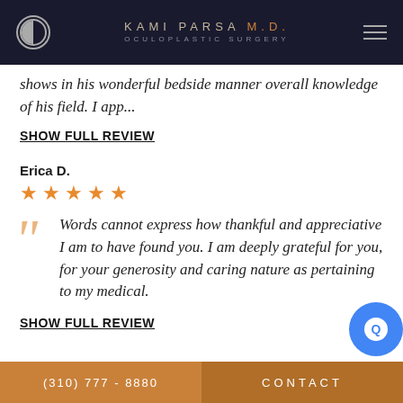KAMI PARSA M.D. OCULOPLASTIC SURGERY
shows in his wonderful bedside manner overall knowledge of his field. I app...
SHOW FULL REVIEW
Erica D.
★★★★★
Words cannot express how thankful and appreciative I am to have found you. I am deeply grateful for you, for your generosity and caring nature as pertaining to my medical.
SHOW FULL REVIEW
(310) 777 - 8880     CONTACT